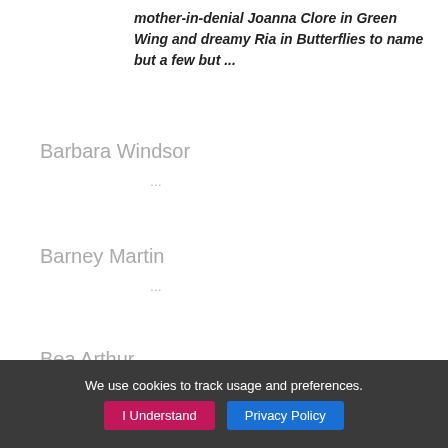mother-in-denial Joanna Clore in Green Wing and dreamy Ria in Butterflies to name but a few but ...
Barbara Windsor
...
Barney Martin
...
Bea Arthur
...
We use cookies to track usage and preferences. I Understand  Privacy Policy